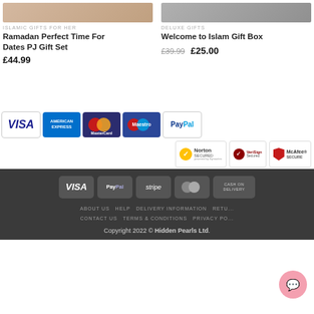[Figure (photo): Product image top left - person wearing Islamic gift set]
ISLAMIC GIFTS FOR HER
Ramadan Perfect Time For Dates PJ Gift Set
£44.99
[Figure (photo): Product image top right - Welcome to Islam Gift Box]
DELUXE GIFTS
Welcome to Islam Gift Box
£39.99  £25.00
[Figure (infographic): Payment method logos: VISA, American Express, MasterCard, Maestro, PayPal]
[Figure (infographic): Security badges: Norton Secured powered by Symantec, VeriSign Secured, McAfee SECURE]
[Figure (infographic): Footer payment icons: VISA, PayPal, stripe, MasterCard, CASH ON DELIVERY]
ABOUT US  HELP  DELIVERY INFORMATION  RETU... CONTACT US  TERMS & CONDITIONS  PRIVACY PO...
Copyright 2022 © Hidden Pearls Ltd.